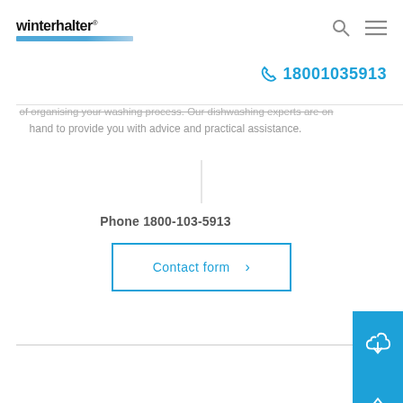[Figure (logo): Winterhalter logo with blue gradient bar beneath text]
18001035913
of organising your washing process. Our dishwashing experts are on hand to provide you with advice and practical assistance.
Phone 1800-103-5913
[Figure (other): Contact form button with arrow, blue outline style]
[Figure (other): Blue side button with download/cloud icon]
[Figure (other): Blue side button with phone icon]
[Figure (other): Blue side button with up arrow (scroll to top)]